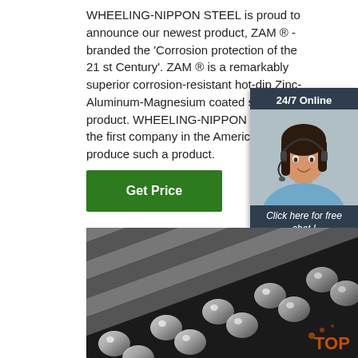WHEELING-NIPPON STEEL is proud to announce our newest product, ZAM ® - branded the 'Corrosion protection of the 21 st Century'. ZAM ® is a remarkably superior corrosion-resistant hot-dip Zinc-Aluminum-Magnesium coated steel sheet product. WHEELING-NIPPON STEEL is the first company in the Americas to produce such a product.
[Figure (infographic): Chat widget showing a customer service agent with headset, '24/7 Online' header, 'Click here for free chat!' text, and an orange QUOTATION button]
[Figure (photo): Close-up photo of multiple steel rods/bars arranged in parallel, showing their circular cross-sections]